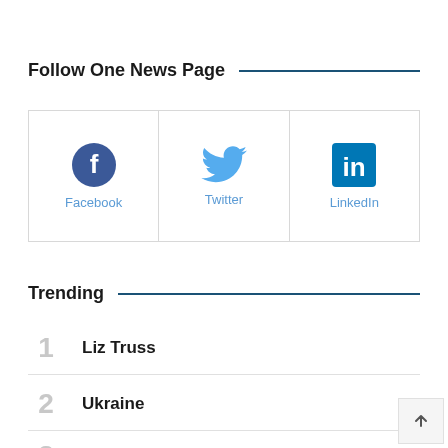Follow One News Page
[Figure (infographic): Three social media follow buttons: Facebook (blue circle with f), Twitter (blue bird icon), LinkedIn (blue square with in)]
Trending
1 Liz Truss
2 Ukraine
3 Germany